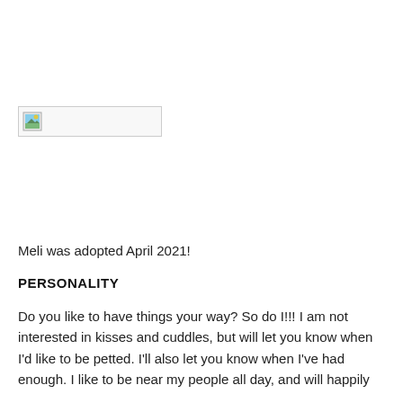[Figure (photo): Broken/missing image placeholder showing a small landscape thumbnail icon with a border]
Meli was adopted April 2021!
PERSONALITY
Do you like to have things your way? So do I!!! I am not interested in kisses and cuddles, but will let you know when I'd like to be petted. I'll also let you know when I've had enough. I like to be near my people all day, and will happily